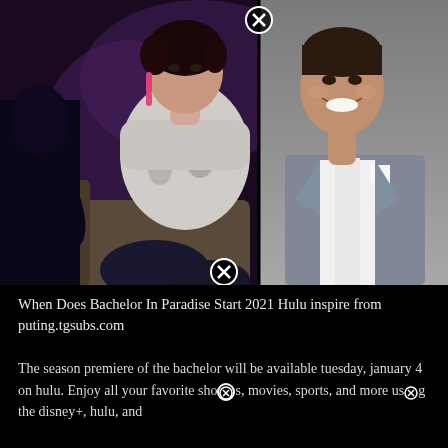[Figure (photo): Two side-by-side celebrity photos: left shows a woman with short dark hair wearing pink earrings and a floral off-shoulder top sitting on a couch; right shows a man in a gray plaid blazer and white shirt smiling against a gray background. There are two close/X button overlays on the image.]
When Does Bachelor In Paradise Start 2021 Hulu inspire from puting.tgsubs.com
The season premiere of the bachelor will be available tuesday, january 4 on hulu. Enjoy all your favorite shows, movies, sports, and more using the disney+, hulu, and